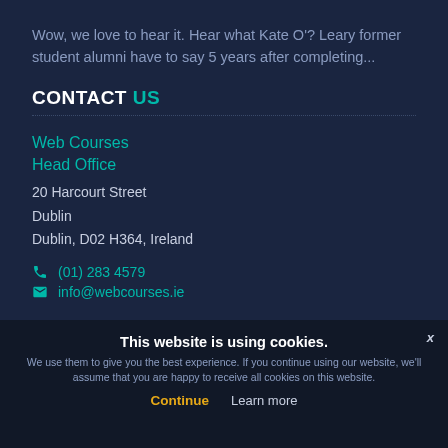Wow, we love to hear it. Hear what Kate O'? Leary former student alumni have to say 5 years after completing...
CONTACT US
Web Courses
Head Office
20 Harcourt Street
Dublin
Dublin, D02 H364, Ireland
(01) 283 4579
info@webcourses.ie
This website is using cookies.
We use them to give you the best experience. If you continue using our website, we'll assume that you are happy to receive all cookies on this website.
Continue   Learn more